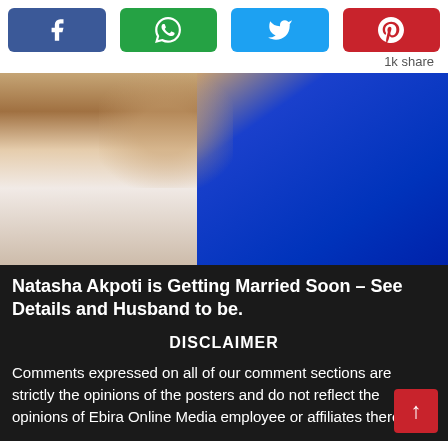[Figure (other): Social media share buttons: Facebook (blue), WhatsApp (green), Twitter (light blue), Pinterest (red)]
1k share
[Figure (photo): A man in a white outfit and a woman in a blue dress posing together]
Natasha Akpoti is Getting Married Soon – See Details and Husband to be.
DISCLAIMER
Comments expressed on all of our comment sections are strictly the opinions of the posters and do not reflect the opinions of Ebira Online Media employee or affiliates thereof.